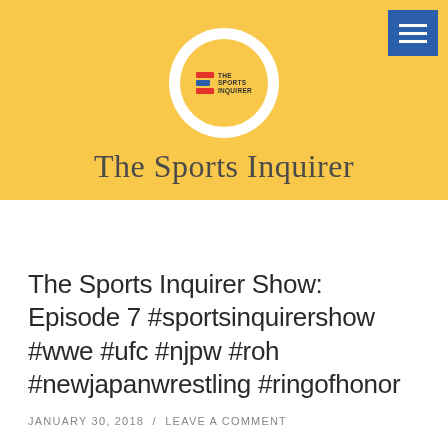The Sports Inquirer
The Sports Inquirer Show: Episode 7 #sportsinquirershow #wwe #ufc #njpw #roh #newjapanwrestling #ringofhonor
JANUARY 30, 2018 / LEAVE A COMMENT